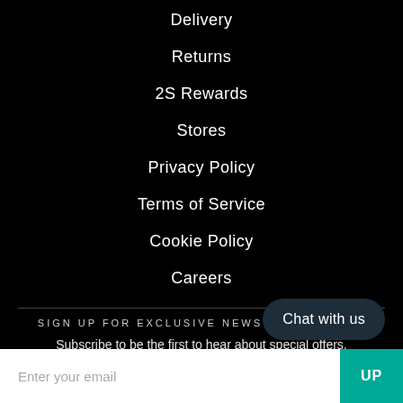Delivery
Returns
2S Rewards
Stores
Privacy Policy
Terms of Service
Cookie Policy
Careers
SIGN UP FOR EXCLUSIVE NEWS & DISCOUNTS
Subscribe to be the first to hear about special offers, giveaways, news and more.
Chat with us
Enter your email
UP